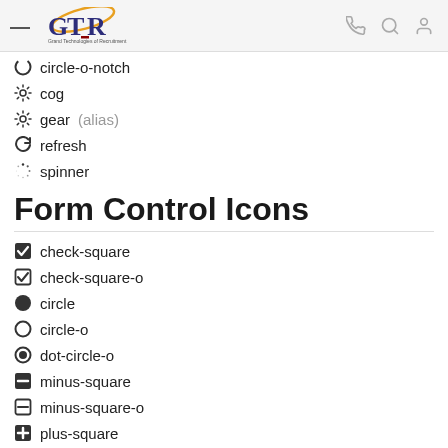GTR - Grand Technologies of Recruitment
circle-o-notch
cog
gear (alias)
refresh
spinner
Form Control Icons
check-square
check-square-o
circle
circle-o
dot-circle-o
minus-square
minus-square-o
plus-square